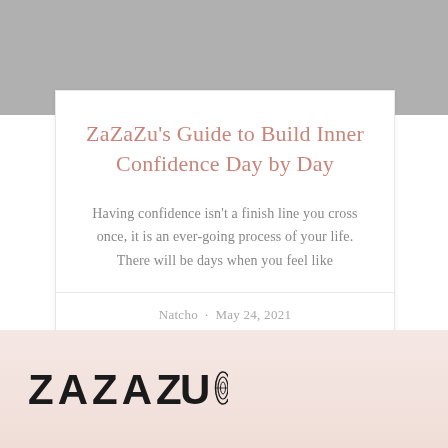[Figure (photo): Gray background image area at top of page]
ZaZaZu's Guide to Build Inner Confidence Day by Day
Having confidence isn't a finish line you cross once, it is an ever-going process of your life. There will be days when you feel like
Natcho · May 24, 2021
[Figure (logo): ZAZAZU brand logo in black bold letters with decorative swirl element]